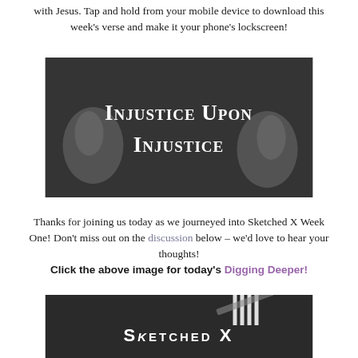with Jesus. Tap and hold from your mobile device to download this week's verse and make it your phone's lockscreen!
[Figure (photo): Black and white image of hands gripping prison bars, with white text overlay reading 'Injustice Upon Injustice']
Thanks for joining us today as we journeyed into Sketched X Week One! Don't miss out on the discussion below – we'd love to hear your thoughts!
Click the above image for today's Digging Deeper!
[Figure (photo): Dark background image with white text reading 'Sketched X' and vertical bar graphic element]